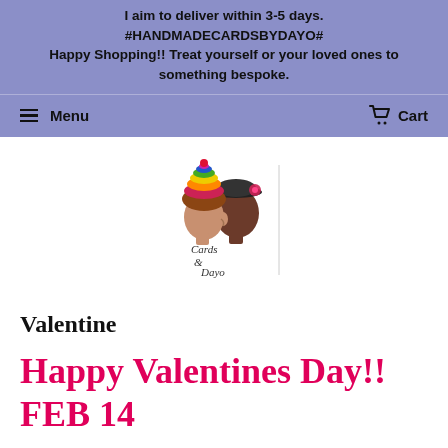I aim to deliver within 3-5 days. #HANDMADECARDSBYDAYO# Happy Shopping!! Treat yourself or your loved ones to something bespoke.
Menu   Cart
[Figure (logo): Logo showing two stylized profile silhouettes — one with colorful cupcake-like headwear, one with a dark cap and flower — with text 'Cards by Dayo' in cursive below.]
Valentine
Happy Valentines Day!! FEB 14